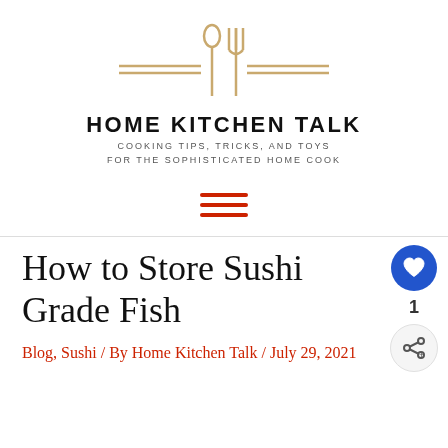[Figure (logo): Home Kitchen Talk logo: spoon and fork icon with horizontal double lines on each side, in tan/gold color]
HOME KITCHEN TALK
COOKING TIPS, TRICKS, AND TOYS FOR THE SOPHISTICATED HOME COOK
[Figure (other): Hamburger menu icon: three red horizontal lines]
How to Store Sushi Grade Fish
Blog, Sushi / By Home Kitchen Talk / July 29, 2021